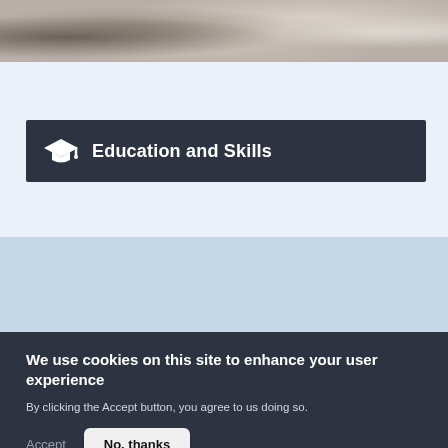[Figure (photo): Close-up photo of hands in grey mittens/gloves on a snowy or wintry surface, cropped at the top]
Education and Skills
We use cookies on this site to enhance your user experience
By clicking the Accept button, you agree to us doing so.
Accept
No, thanks